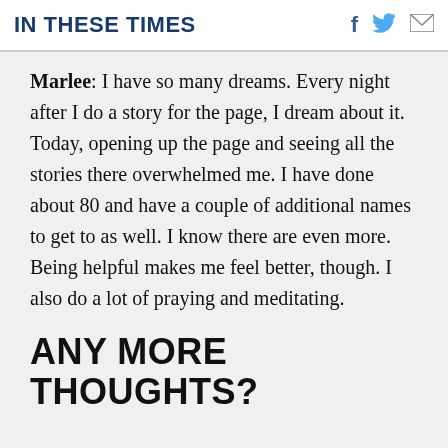IN THESE TIMES
Marlee: I have so many dreams. Every night after I do a story for the page, I dream about it. Today, opening up the page and seeing all the stories there overwhelmed me. I have done about 80 and have a couple of additional names to get to as well. I know there are even more. Being helpful makes me feel better, though. I also do a lot of praying and meditating.
ANY MORE THOUGHTS?